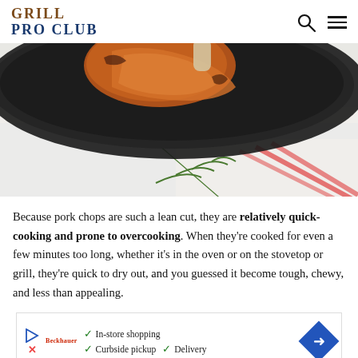GRILL PRO CLUB
[Figure (photo): Close-up photo of seared pork chops in a dark cast iron skillet, with a sprig of rosemary on a white cloth with red stripes in the background.]
Because pork chops are such a lean cut, they are relatively quick-cooking and prone to overcooking. When they’re cooked for even a few minutes too long, whether it’s in the oven or on the stovetop or grill, they’re quick to dry out, and you guessed it become tough, chewy, and less than appealing.
[Figure (infographic): Advertisement banner showing store services: In-store shopping, Curbside pickup, Delivery with a blue diamond arrow icon on the right.]